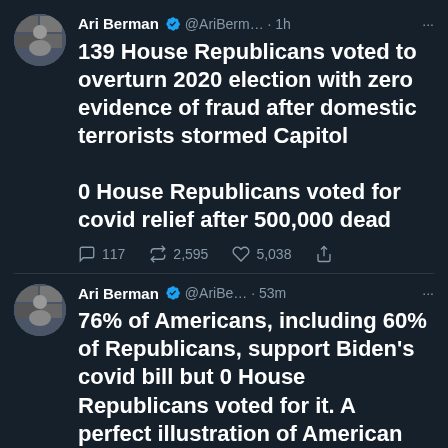[Figure (screenshot): Screenshot of two tweets by Ari Berman (@AriBerman). First tweet (1h ago): '139 House Republicans voted to overturn 2020 election with zero evidence of fraud after domestic terrorists stormed Capitol. 0 House Republicans voted for covid relief after 500,000 dead' with engagement stats: 117 replies, 2,595 retweets, 5,038 likes. Second tweet (53m ago): '76% of Americans, including 60% of Republicans, support Biden's covid bill but 0 House Republicans voted for it. A perfect illustration of American politics right now']